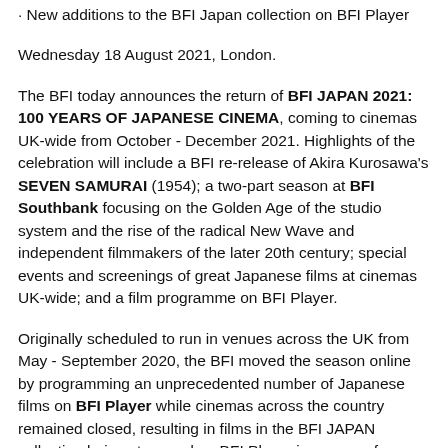· New additions to the BFI Japan collection on BFI Player
Wednesday 18 August 2021, London.
The BFI today announces the return of BFI JAPAN 2021: 100 YEARS OF JAPANESE CINEMA, coming to cinemas UK-wide from October - December 2021. Highlights of the celebration will include a BFI re-release of Akira Kurosawa's SEVEN SAMURAI (1954); a two-part season at BFI Southbank focusing on the Golden Age of the studio system and the rise of the radical New Wave and independent filmmakers of the later 20th century; special events and screenings of great Japanese films at cinemas UK-wide; and a film programme on BFI Player.
Originally scheduled to run in venues across the UK from May - September 2020, the BFI moved the season online by programming an unprecedented number of Japanese films on BFI Player while cinemas across the country remained closed, resulting in films in the BFI JAPAN collection being streamed on BFI Player in excess of 400,000 times since then. After the Olympic and Paralympic Games in Tokyo come to a close this summer, the BFI picks up the torch to shine a light on 100 years of Japanese